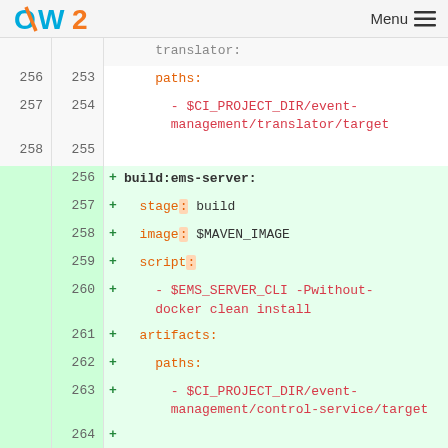OW2   Menu
translator:
256  253      paths:
257  254        - $CI_PROJECT_DIR/event-management/translator/target
258  255
256  + build:ems-server:
257  +   stage: build
258  +   image: $MAVEN_IMAGE
259  +   script:
260  +     - $EMS_SERVER_CLI -Pwithout-docker clean install
261  +   artifacts:
262  +     paths:
263  +       - $CI_PROJECT_DIR/event-management/control-service/target
264  +
259  265    deploy:melodic-upperware:
260  266      stage: deploy
261  267      only:
...  ...  @@ -314,56 +320,56 @@